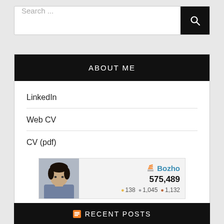[Figure (screenshot): Search bar widget with text input showing 'Search ...' placeholder and a black search button with magnifying glass icon]
ABOUT ME
LinkedIn
Web CV
CV (pdf)
[Figure (screenshot): Stack Overflow user card for Bozho showing avatar photo, score 575,489, gold badge 138, silver badge 1,045, bronze badge 1,132]
RECENT POSTS